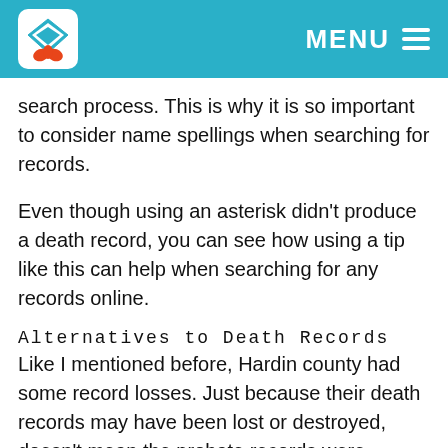MENU
search process. This is why it is so important to consider name spellings when searching for records.
Even though using an asterisk didn't produce a death record, you can see how using a tip like this can help when searching for any records online.
Alternatives to Death Records
Like I mentioned before, Hardin county had some record losses. Just because their death records may have been lost or destroyed, doesn't mean the probate records were.
Using FamilySearch.org, I used the browse option to search probate record books in Hardin county, If not shed from the record stated 05 Apr 1909 is